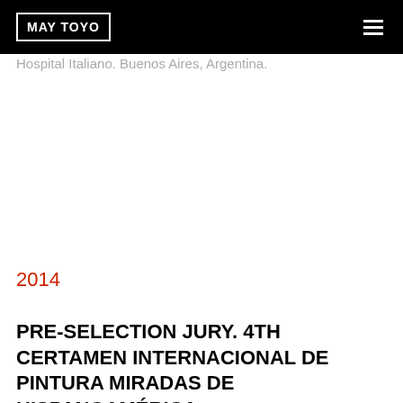MAY TOYO
Hospital Italiano. Buenos Aires, Argentina.
2014
PRE-SELECTION JURY. 4TH CERTAMEN INTERNACIONAL DE PINTURA MIRADAS DE HISPANOAMÉRICA